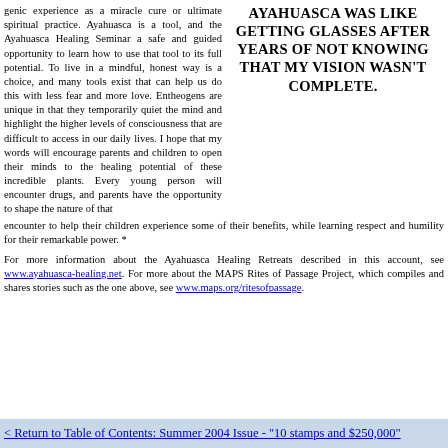genic experience as a miracle cure or ultimate spiritual practice. Ayahuasca is a tool, and the Ayahuasca Healing Seminar a safe and guided opportunity to learn how to use that tool to its full potential. To live in a mindful, honest way is a choice, and many tools exist that can help us do this with less fear and more love. Entheogens are unique in that they temporarily quiet the mind and highlight the higher levels of consciousness that are difficult to access in our daily lives. I hope that my words will encourage parents and children to open their minds to the healing potential of these incredible plants. Every young person will encounter drugs, and parents have the opportunity to shape the nature of that encounter to help their children experience some of their benefits, while learning respect and humility for their remarkable power. *
AYAHUASCA WAS LIKE GETTING GLASSES AFTER YEARS OF NOT KNOWING THAT MY VISION WASN'T COMPLETE.
For more information about the Ayahuasca Healing Retreats described in this account, see www.ayahuasca-healing.net. For more about the MAPS Rites of Passage Project, which compiles and shares stories such as the one above, see www.maps.org/ritesofpassage.
< Return to Table of Contents: Summer 2004 Issue - "10 stamps and $250,000"